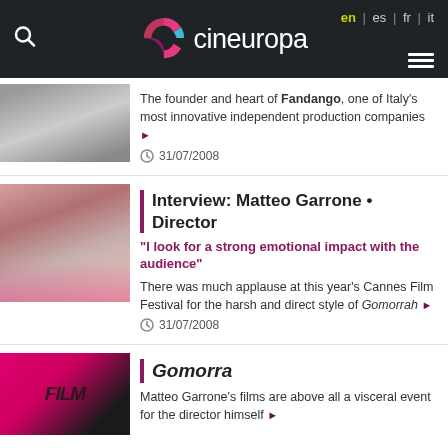cineuropa — en | es | fr | it
The founder and heart of Fandango, one of Italy's most innovative independent production companies ▶ 31/07/2008
Interview: Matteo Garrone • Director
"I look for a strong emotional impact with the audience"
There was much applause at this year's Cannes Film Festival for the harsh and direct style of Gomorrah ▶ 31/07/2008
Gomorra
Matteo Garrone's films are above all a visceral event for the director himself ▶